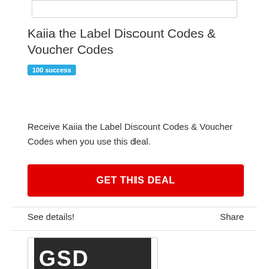[Figure (other): Empty input box at the top]
Kaiia the Label Discount Codes & Voucher Codes
100 success
Receive Kaiia the Label Discount Codes & Voucher Codes when you use this deal.
GET THIS DEAL
See details!
Share
[Figure (logo): Dark background image with large white letters 'GSD' partially visible at the bottom]